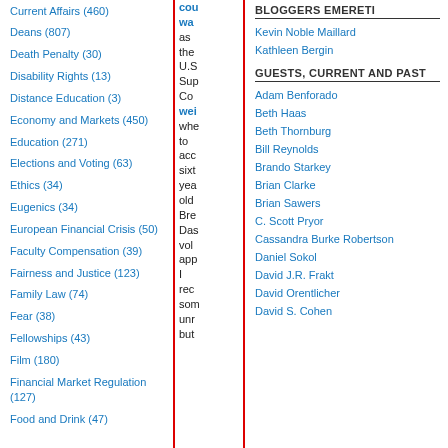Current Affairs (460)
Deans (807)
Death Penalty (30)
Disability Rights (13)
Distance Education (3)
Economy and Markets (450)
Education (271)
Elections and Voting (63)
Ethics (34)
Eugenics (34)
European Financial Crisis (50)
Faculty Compensation (39)
Fairness and Justice (123)
Family Law (74)
Fear (38)
Fellowships (43)
Film (180)
Financial Market Regulation (127)
Food and Drink (47)
cou wa as the U.S. Sup Cou wei whe to acc sixt yea old Bre Das vol app I rec son unr but
BLOGGERS EMERETI
Kevin Noble Maillard
Kathleen Bergin
GUESTS, CURRENT AND PAST
Adam Benforado
Beth Haas
Beth Thornburg
Bill Reynolds
Brando Starkey
Brian Clarke
Brian Sawers
C. Scott Pryor
Cassandra Burke Robertson
Daniel Sokol
David J.R. Frakt
David Orentlicher
David S. Cohen